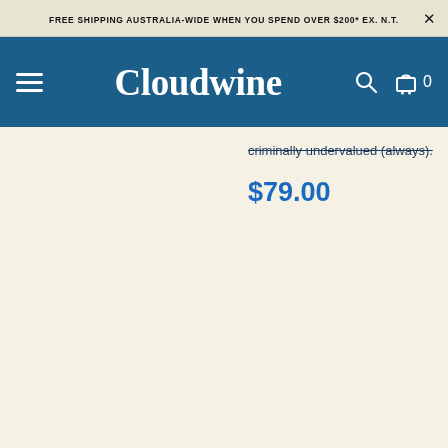FREE SHIPPING AUSTRALIA-WIDE WHEN YOU SPEND OVER $200* EX. N.T.
[Figure (logo): Cloudwine website navigation bar with hamburger menu, Cloudwine logo text, search icon, and cart icon showing 0 items]
criminally undervalued (always).
$79.00